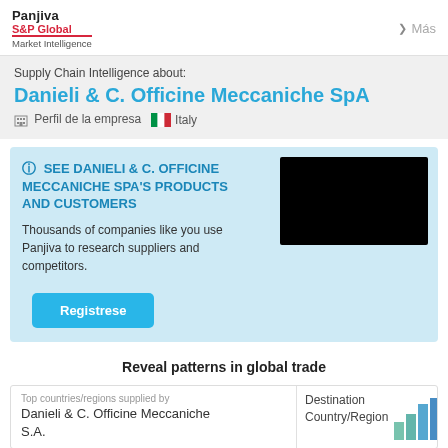Panjiva S&P Global Market Intelligence | Más
Supply Chain Intelligence about:
Danieli & C. Officine Meccaniche SpA
Perfil de la empresa   Italy
SEE DANIELI & C. OFFICINE MECCANICHE SPA'S PRODUCTS AND CUSTOMERS
Thousands of companies like you use Panjiva to research suppliers and competitors.
Registrese
Reveal patterns in global trade
Top countries/regions supplied by Danieli & C. Officine Meccaniche S.A.
Destination Country/Region